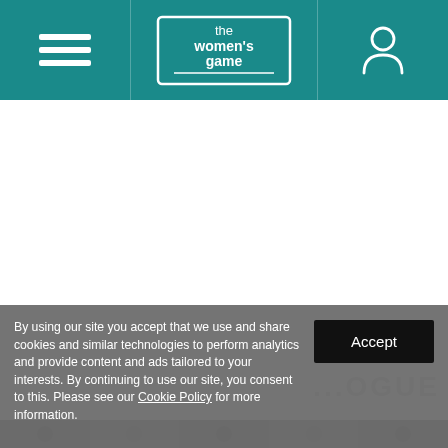the women's game
[Figure (screenshot): White content area - blank/advertisement space below the header navigation]
By using our site you accept that we use and share cookies and similar technologies to perform analytics and provide content and ads tailored to your interests. By continuing to use our site, you consent to this. Please see our Cookie Policy for more information.